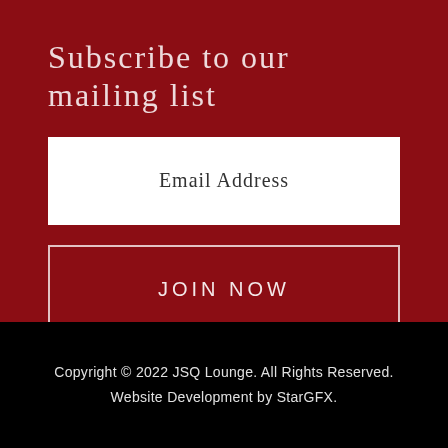Subscribe to our mailing list
Email Address
JOIN NOW
Copyright © 2022 JSQ Lounge. All Rights Reserved. Website Development by StarGFX.